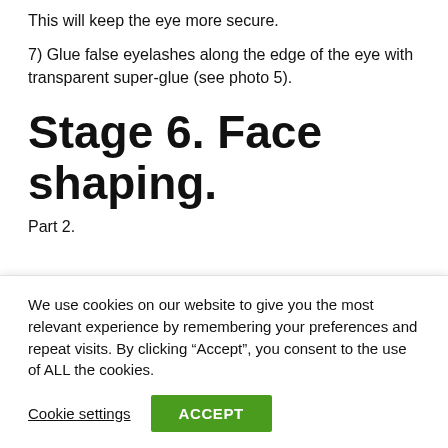This will keep the eye more secure.
7) Glue false eyelashes along the edge of the eye with transparent super-glue (see photo 5).
Stage 6. Face shaping.
Part 2.
We use cookies on our website to give you the most relevant experience by remembering your preferences and repeat visits. By clicking “Accept”, you consent to the use of ALL the cookies.
Cookie settings   ACCEPT